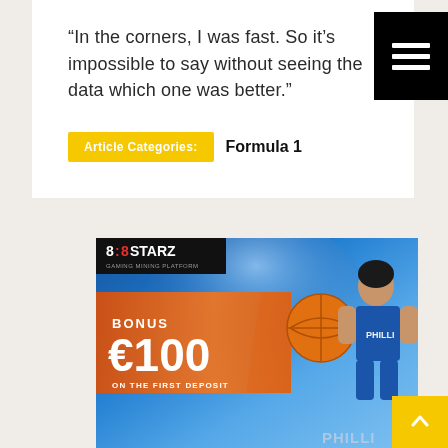“In the corners, I was fast. So it’s impossible to say without seeing the data which one was better.”
Article Categories: Formula 1
[Figure (other): 888Starz Gaming Mining Platform advertisement banner with basketball theme. Features orange promo area with text BONUS €100 ON THE FIRST DEPOSIT, a basketball graphic, and a female character in basketball uniform. Blue arena background.]